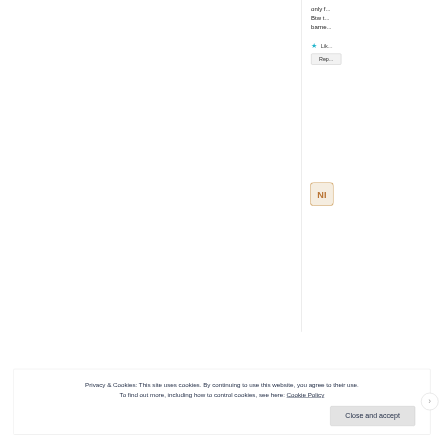only f... Btw t... barne...
[Figure (logo): Circular avatar/logo icon with 'NI' letters in orange/brown style]
Privacy & Cookies: This site uses cookies. By continuing to use this website, you agree to their use.
To find out more, including how to control cookies, see here: Cookie Policy